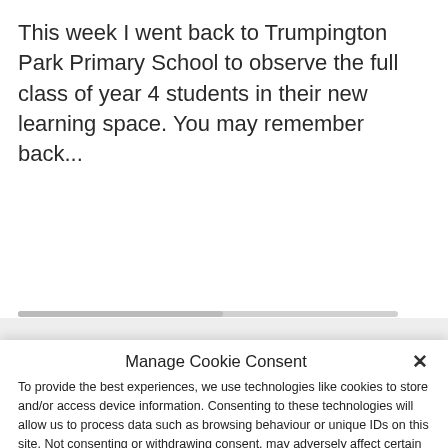This week I went back to Trumpington Park Primary School to observe the full class of year 4 students in their new learning space. You may remember back...
Manage Cookie Consent
To provide the best experiences, we use technologies like cookies to store and/or access device information. Consenting to these technologies will allow us to process data such as browsing behaviour or unique IDs on this site. Not consenting or withdrawing consent, may adversely affect certain features and functions.
Accept
Deny